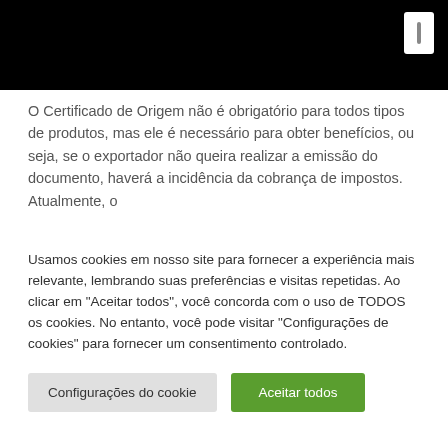O Certificado de Origem não é obrigatório para todos tipos de produtos, mas ele é necessário para obter benefícios, ou seja, se o exportador não queira realizar a emissão do documento, haverá a incidência da cobrança de impostos. Atualmente, o
Usamos cookies em nosso site para fornecer a experiência mais relevante, lembrando suas preferências e visitas repetidas. Ao clicar em "Aceitar todos", você concorda com o uso de TODOS os cookies. No entanto, você pode visitar "Configurações de cookies" para fornecer um consentimento controlado.
Configurações do cookie
Aceitar todos